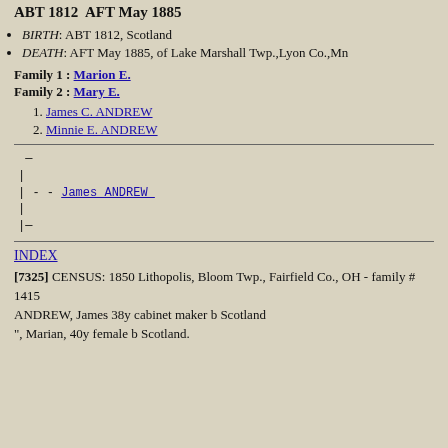ABT 1812  AFT May 1885
BIRTH: ABT 1812, Scotland
DEATH: AFT May 1885, of Lake Marshall Twp.,Lyon Co.,Mn
Family 1 : Marion E.
Family 2 : Mary E.
1. James C. ANDREW
2. Minnie E. ANDREW
[Figure (other): ASCII tree diagram showing genealogical lineage: _ _ | | - - James ANDREW | |__]
INDEX
[7325] CENSUS: 1850 Lithopolis, Bloom Twp., Fairfield Co., OH - family # 1415
ANDREW, James 38y cabinet maker b Scotland
", Marian, 40y female b Scotland.